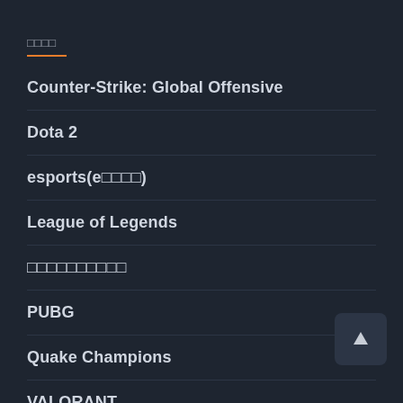□□□□
Counter-Strike: Global Offensive
Dota 2
esports(e□□□□)
League of Legends
□□□□□□□□□□
PUBG
Quake Champions
VALORANT